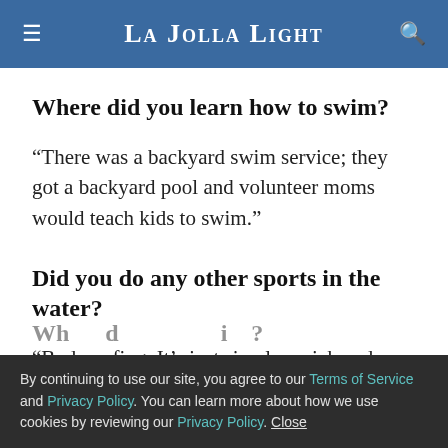La Jolla Light
Where did you learn how to swim?
“There was a backyard swim service; they got a backyard pool and volunteer moms would teach kids to swim.”
Did you do any other sports in the water?
“Bodysurfing. It’s just simple, quick and easy.”
By continuing to use our site, you agree to our Terms of Service and Privacy Policy. You can learn more about how we use cookies by reviewing our Privacy Policy. Close